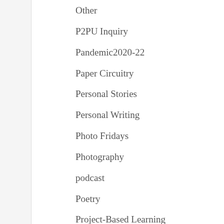Other
P2PU Inquiry
Pandemic2020-22
Paper Circuitry
Personal Stories
Personal Writing
Photo Fridays
Photography
podcast
Poetry
Project-Based Learning
quickfiction
RhizoLearning
Short Story Writing
Sketching
Sketchnoting